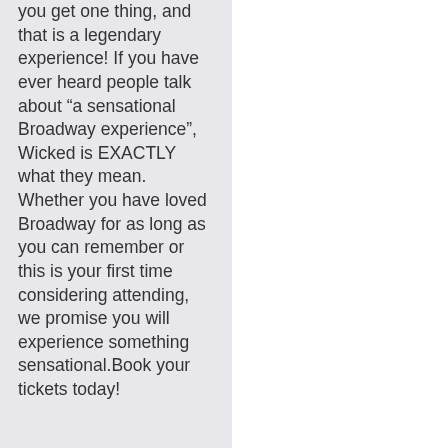you get one thing, and that is a legendary experience! If you have ever heard people talk about “a sensational Broadway experience”, Wicked is EXACTLY what they mean. Whether you have loved Broadway for as long as you can remember or this is your first time considering attending, we promise you will experience something sensational.Book your tickets today!